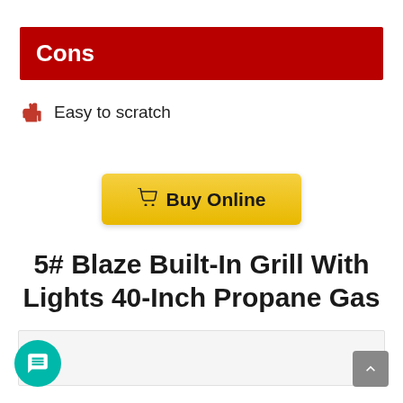Cons
Easy to scratch
[Figure (other): Yellow 'Buy Online' button with shopping cart icon]
5# Blaze Built-In Grill With Lights 40-Inch Propane Gas